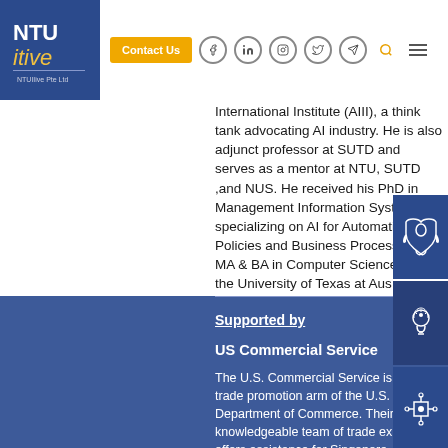[Figure (logo): NTU itive logo in blue and gold]
[Figure (screenshot): Navigation bar with Contact Us button and social media icons]
International Institute (AIII), a think tank advocating AI industry. He is also adjunct professor at SUTD and serves as a mentor at NTU, SUTD ,and NUS. He received his PhD in Management Information System specializing on AI for Automating Policies and Business Process and MA & BA in Computer Science from the University of Texas at Aus
[Figure (illustration): Three blue icon boxes on right side: rocket, head with lightbulb, network/chip]
Supported by
US Commercial Service
The U.S. Commercial Service is the trade promotion arm of the U.S. Department of Commerce. Their knowledgeable team of trade experts offers assistance for Singapore companies seeking to expand into the U.S. and